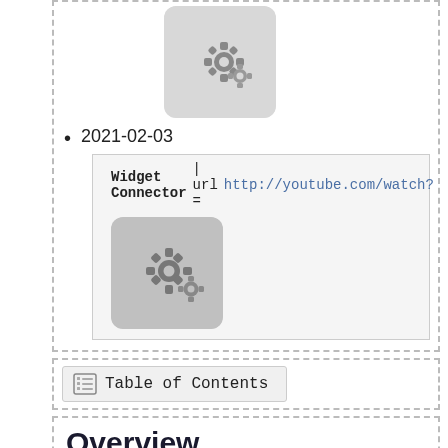[Figure (illustration): Gear/settings icon image on grey rounded background]
2021-02-03
Widget Connector | url = http://youtube.com/watch?
[Figure (illustration): Gear/settings icon image on grey rounded background]
Table of Contents
Overview
Technology around Business Intelligence (BI) has been developed since 1990s. Most of the BI tools was built because of the sprout of Relation Database Management System (RDBMS). After many years of development and evolution, BI is now a pretty mature area that most modern corporations embrace and has a long history to help human to understand data in an intuited way.